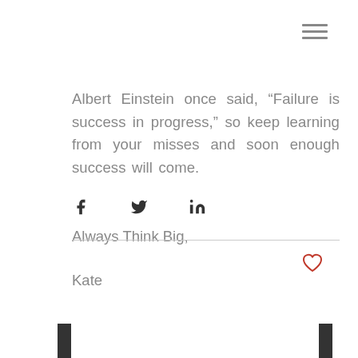Albert Einstein once said, “Failure is success in progress,” so keep learning from your misses and soon enough success will come.
Always Think Big,
Kate
[Figure (other): Social sharing icons: Facebook, Twitter, LinkedIn]
[Figure (other): Heart/like icon (outline, red)]
[Figure (other): Navigation arrows or page turn indicators at bottom left and right]